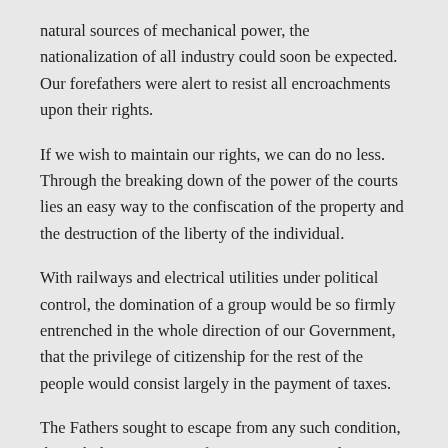natural sources of mechanical power, the nationalization of all industry could soon be expected. Our forefathers were alert to resist all encroachments upon their rights.
If we wish to maintain our rights, we can do no less. Through the breaking down of the power of the courts lies an easy way to the confiscation of the property and the destruction of the liberty of the individual.
With railways and electrical utilities under political control, the domination of a group would be so firmly entrenched in the whole direction of our Government, that the privilege of citizenship for the rest of the people would consist largely in the payment of taxes.
The Fathers sought to escape from any such condition, through the guarantees of our Constitution. They put their faith in a free republic.